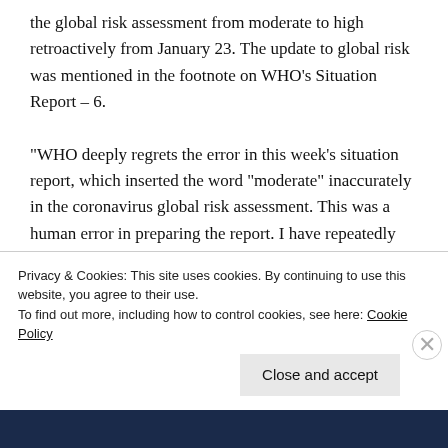the global risk assessment from moderate to high retroactively from January 23. The update to global risk was mentioned in the footnote on WHO's Situation Report – 6.

"WHO deeply regrets the error in this week's situation report, which inserted the word "moderate" inaccurately in the coronavirus global risk assessment. This was a human error in preparing the report. I have repeatedly stated the high risk of the outbreak," Dr. Tedros tweeted.
Privacy & Cookies: This site uses cookies. By continuing to use this website, you agree to their use.
To find out more, including how to control cookies, see here: Cookie Policy